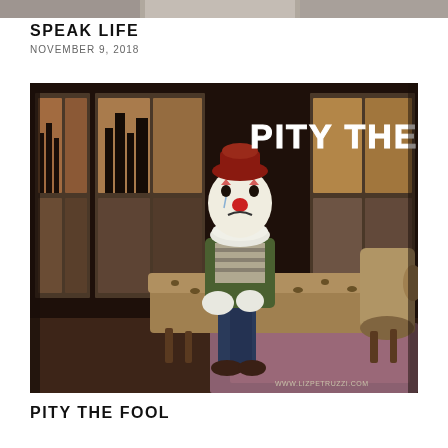[Figure (photo): Top strip showing partial images of previous blog entries, cropped at top of page]
SPEAK LIFE
NOVEMBER 9, 2018
[Figure (illustration): Digital artwork of a clown character wearing white face makeup with red nose, green jacket, striped shirt, jeans, and white gloves, sitting on a leopard-print chaise lounge in a dark interior room with large windows showing a city skyline at dusk. Large white text reads 'PITY THE FOOL' in the upper right. Website watermark www.lizpetruzzi.com in lower right corner.]
PITY THE FOOL